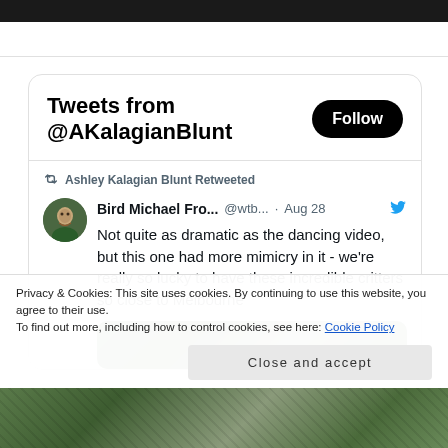[Figure (screenshot): Black top bar of webpage]
Tweets from @AKalagianBlunt
Follow
Ashley Kalagian Blunt Retweeted
Bird Michael Fro... @wtb... · Aug 28
Not quite as dramatic as the dancing video, but this one had more mimicry in it - we're really so lucky to have these incredible critters so close to Melbourne
[Figure (photo): Partial photo of animal/nature scene]
Privacy & Cookies: This site uses cookies. By continuing to use this website, you agree to their use.
To find out more, including how to control cookies, see here: Cookie Policy
Close and accept
[Figure (photo): Nature/animal photo at bottom of page]